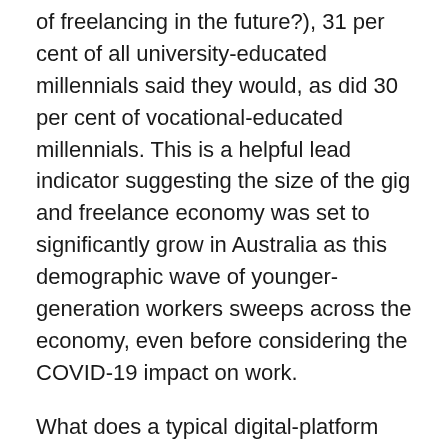of freelancing in the future?), 31 per cent of all university-educated millennials said they would, as did 30 per cent of vocational-educated millennials. This is a helpful lead indicator suggesting the size of the gig and freelance economy was set to significantly grow in Australia as this demographic wave of younger-generation workers sweeps across the economy, even before considering the COVID-19 impact on work.
What does a typical digital-platform worker look like? How much do they earn, in what industries do they work, and what kind of work do they do? Here is the prevalence of gig and freelance workers within these demographics, ranked according to categories with the highest proportion: